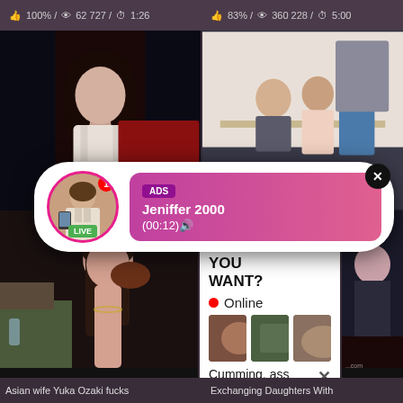👍 100% / 👁 62 727 / ⏱ 1:26    👍 83% / 👁 360 228 / ⏱ 5:00
[Figure (screenshot): Two video thumbnails side by side - left shows a woman selfie, right shows a group scene]
[Figure (infographic): Popup advertisement overlay with avatar, LIVE badge, ADS label, name Jeniffer 2000, time (00:12), close button]
jove...    95%
[Figure (screenshot): Bottom left video thumbnail of woman]
[Figure (infographic): Ad panel: WHAT DO YOU WANT? WATCH button, Online indicator, three mini thumbnails, text: Cumming, ass fucking, squirt or... ADS, close X]
[Figure (screenshot): Bottom right partial video thumbnail]
Asian wife Yuka Ozaki fucks
Exchanging Daughters With